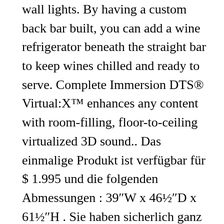wall lights. By having a custom back bar built, you can add a wine refrigerator beneath the straight bar to keep wines chilled and ready to serve. Complete Immersion DTS® Virtual:X™ enhances any content with room-filling, floor-to-ceiling virtualized 3D sound.. Das einmalige Produkt ist verfügbar für $ 1.995 und die folgenden Abmessungen : 39″W x 46½″D x 61½″H . Sie haben sicherlich ganz bestimmte Vorstellungen von ihrer Kücheneinrichtung und davon, welche Haushaltswaren Ihnen helfen. This bar features black granite countertops. Some are small while others are entire rooms. Traditional pure white home bar with hardwood flooring and marble counter